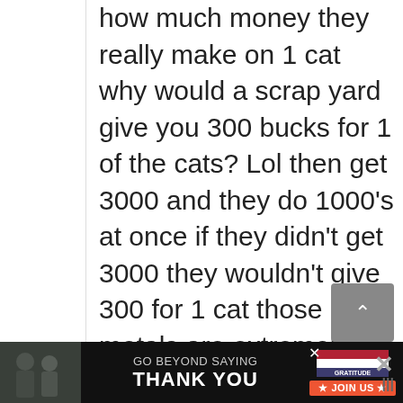how much money they really make on 1 cat why would a scrap yard give you 300 bucks for 1 of the cats? Lol then get 3000 and they do 1000's at once if they didn't get 3000 they wouldn't give 300 for 1 cat those metals are extremely valuable I had to beat up 5 series got 4 cats then scraped them after I took in the cats wanted to give 300 for the 2 cause it
[Figure (screenshot): Chat widget overlay with teal background: 'Want to ask a Mechanic online now? I can connect you ...' with female avatar and notification badge showing 1]
[Figure (screenshot): Advertisement banner: GO BEYOND SAYING THANK YOU - Operation Gratitude JOIN US]